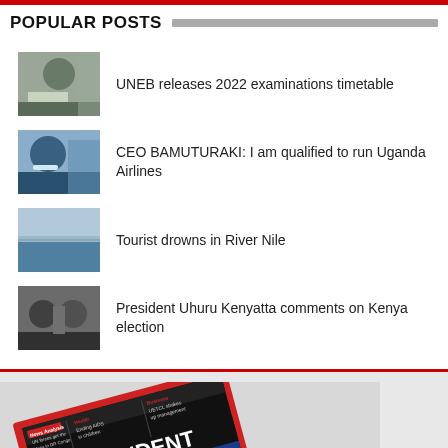POPULAR POSTS
UNEB releases 2022 examinations timetable
CEO BAMUTURAKI: I am qualified to run Uganda Airlines
Tourist drowns in River Nile
President Uhuru Kenyatta comments on Kenya election
[Figure (photo): The Independent magazine cover showing 'Museveni's relation with America' headline]